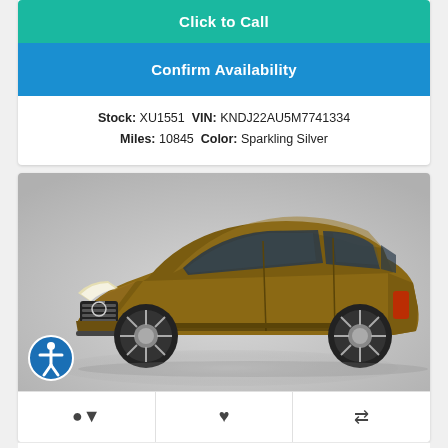Click to Call
Confirm Availability
Stock: XU1551 VIN: KNDJ22AU5M7741334 Miles: 10845 Color: Sparkling Silver
[Figure (photo): Photo of a 2017 Volvo SUV in bronze/brown color on a light grey background]
2017 Volvo
Your Price: